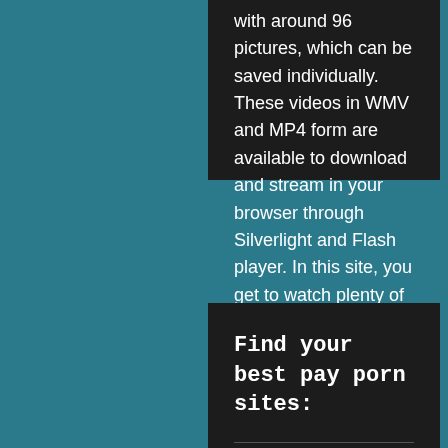with around 96 pictures, which can be saved individually. These videos in WMV and MP4 form are available to download and stream in your browser through Silverlight and Flash player. In this site, you get to watch plenty of hot shemales in hardcore action. This site is home to beautiful Tgirls who can't keep themselves from satisfying their lust. Enjoy nicely made shemales sex movies.
– ShemaleFuckFest
Find your best pay porn sites: